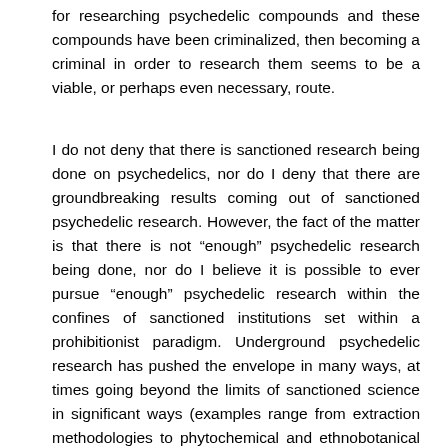for researching psychedelic compounds and these compounds have been criminalized, then becoming a criminal in order to research them seems to be a viable, or perhaps even necessary, route.
I do not deny that there is sanctioned research being done on psychedelics, nor do I deny that there are groundbreaking results coming out of sanctioned psychedelic research. However, the fact of the matter is that there is not “enough” psychedelic research being done, nor do I believe it is possible to ever pursue “enough” psychedelic research within the confines of sanctioned institutions set within a prohibitionist paradigm. Underground psychedelic research has pushed the envelope in many ways, at times going beyond the limits of sanctioned science in significant ways (examples range from extraction methodologies to phytochemical and ethnobotanical research, and beyond). These underground contributions to psychedelic science are indivisible from the broader context of psychedelic research, but are paradoxically